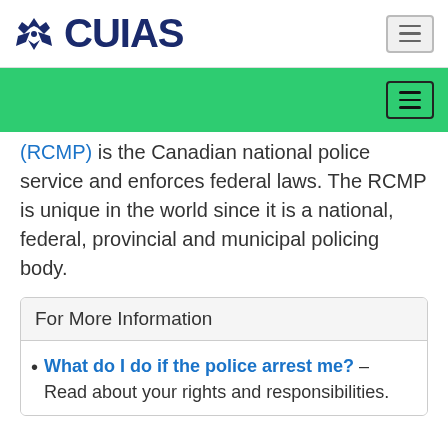CUIAS
(RCMP) is the Canadian national police service and enforces federal laws. The RCMP is unique in the world since it is a national, federal, provincial and municipal policing body.
For More Information
What do I do if the police arrest me? – Read about your rights and responsibilities.